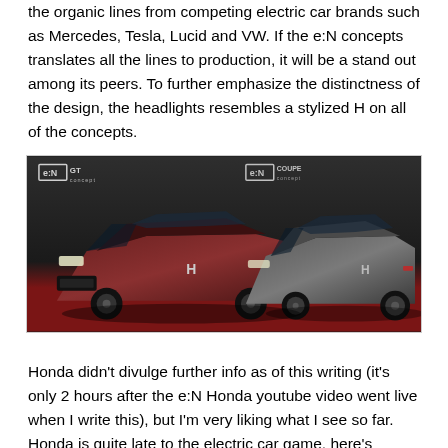the organic lines from competing electric car brands such as Mercedes, Tesla, Lucid and VW. If the e:N concepts translates all the lines to production, it will be a stand out among its peers. To further emphasize the distinctness of the design, the headlights resembles a stylized H on all of the concepts.
[Figure (photo): Two Honda e:N concept cars (e:N GT Concept and e:N Coupe Concept) displayed on a dark stage with a red floor, viewed from a front-side angle.]
Honda didn't divulge further info as of this writing (it's only 2 hours after the e:N Honda youtube video went live when I write this), but I'm very liking what I see so far. Honda is quite late to the electric car game, here's hoping Honda will bring another option in the electric car market.